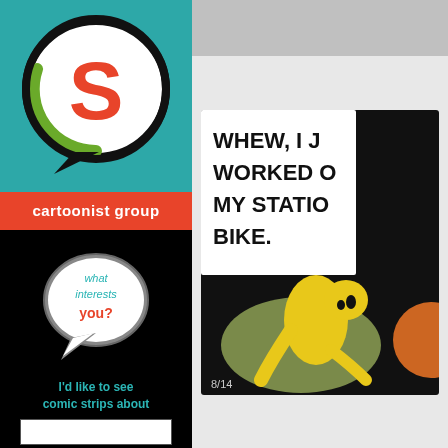[Figure (logo): Cartoonist Group logo: speech bubble with S letter in teal and red on teal background]
cartoonist group
[Figure (illustration): Speech bubble icon with text: what interests you?]
I'd like to see comic strips about
[Figure (screenshot): Partial comic strip panel showing character on stationary bike with speech bubble: WHEW, I J... WORKED O... MY STATION... BIKE. Dated 8/14]